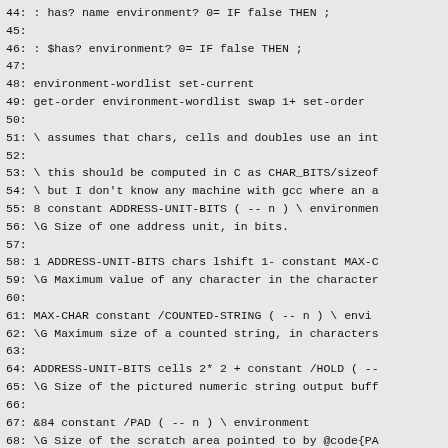44:   : has? name environment? 0= IF false THEN ;
45:
46:   : $has? environment? 0= IF false THEN ;
47:
48:   environment-wordlist set-current
49:   get-order environment-wordlist swap 1+ set-order
50:
51:   \ assumes that chars, cells and doubles use an int
52:
53:   \ this should be computed in C as CHAR_BITS/sizeof
54:   \ but I don't know any machine with gcc where an a
55:   8 constant ADDRESS-UNIT-BITS ( -- n ) \ environmen
56:   \G Size of one address unit, in bits.
57:
58:   1 ADDRESS-UNIT-BITS chars lshift 1- constant MAX-C
59:   \G Maximum value of any character in the character
60:
61:   MAX-CHAR constant /COUNTED-STRING ( -- n ) \ envi
62:   \G Maximum size of a counted string, in characters
63:
64:   ADDRESS-UNIT-BITS cells 2* 2 + constant /HOLD ( --
65:   \G Size of the pictured numeric string output buff
66:
67:   &84 constant /PAD ( -- n ) \ environment
68:   \G Size of the scratch area pointed to by @code{PA
69:
70:   true constant CORE ( -- f ) \ environment
71:   \G True if the complete core word set is present.
72:
73:   true constant CORE-EXT ( -- f ) \ environment
74:   \G True if the complete core...